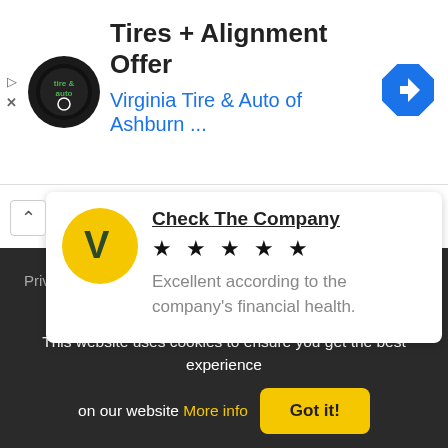[Figure (screenshot): Ad banner: Virginia Tire & Auto of Ashburn logo, title 'Tires + Alignment Offer', subtitle 'Virginia Tire & Auto of Ashburn ...', blue diamond navigation icon on right, play and close icons on left]
Check The Company
★ ★ ★ ★ ★
Excellent according to the company's financial health.
Privacy Policy   Browse   About   Contact
This website uses cookies to ensure you get the best experience on our website More info
Got it!